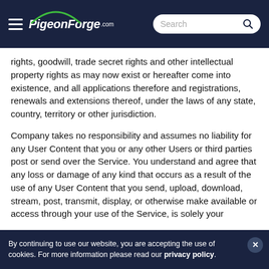PigeonForge.com — Search header navigation
rights, goodwill, trade secret rights and other intellectual property rights as may now exist or hereafter come into existence, and all applications therefore and registrations, renewals and extensions thereof, under the laws of any state, country, territory or other jurisdiction.
Company takes no responsibility and assumes no liability for any User Content that you or any other Users or third parties post or send over the Service. You understand and agree that any loss or damage of any kind that occurs as a result of the use of any User Content that you send, upload, download, stream, post, transmit, display, or otherwise make available or access through your use of the Service, is solely your...
By continuing to use our website, you are accepting the use of cookies. For more information please read our privacy policy.